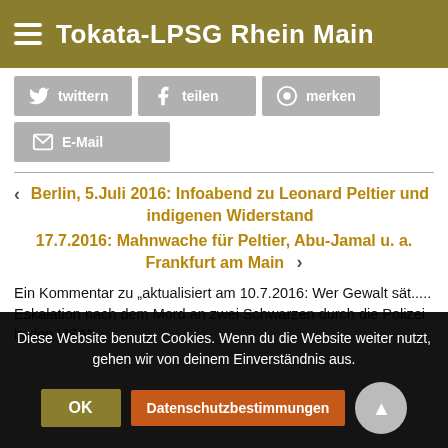Tokata-LPSG Rhein Main
twittern
teilen
merken
E-Mail
‹ Berlin, 5.Juli 2016: Infoabend zu Leonard Peltier und indigenen Widerstand
17.7.2016: Mahnwache für Peltier, Abu-Jamal u. a. Frankfurt am Main ›
Ein Kommentar zu „aktualisiert am 10.7.2016: Wer Gewalt sät..... Eskalation nach dem Mord an zwei Schwarzen durch die Polizei in den USA“
Diese Website benutzt Cookies. Wenn du die Website weiter nutzt, gehen wir von deinem Einverständnis aus.